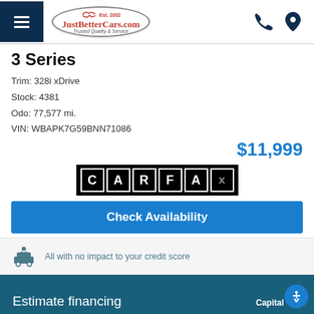JustBetterCars.com — Est. 2002 — Trusted Quality & Service
3 Series
Trim: 328i xDrive
Stock: 4381
Odo: 77,577 mi.
VIN: WBAPK7G59BNN71086
$11,999
[Figure (logo): CARFAX logo in black and white block letters]
Check Availability
All with no impact to your credit score
Estimate financing — Capital One